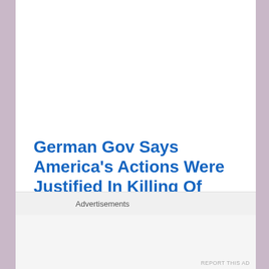German Gov Says America's Actions Were Justified In Killing Of Soleimani
Graham: Soleimani was
Advertisements